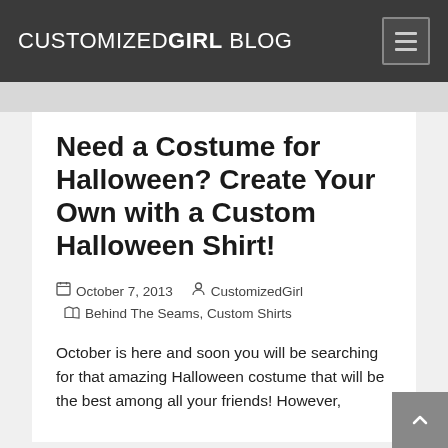CUSTOMIZEDGIRL BLOG
Need a Costume for Halloween? Create Your Own with a Custom Halloween Shirt!
October 7, 2013  CustomizedGirl  Behind The Seams, Custom Shirts
October is here and soon you will be searching for that amazing Halloween costume that will be the best among all your friends! However,